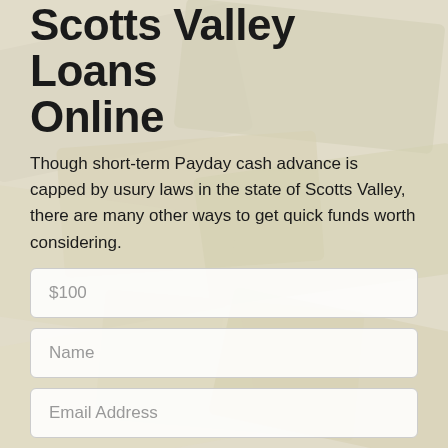Scotts Valley Loans Online
Though short-term Payday cash advance is capped by usury laws in the state of Scotts Valley, there are many other ways to get quick funds worth considering.
[Figure (screenshot): Web form with three input fields (amount placeholder $100, Name, Email Address) and a GET STARTED NOW button on a money bills background]